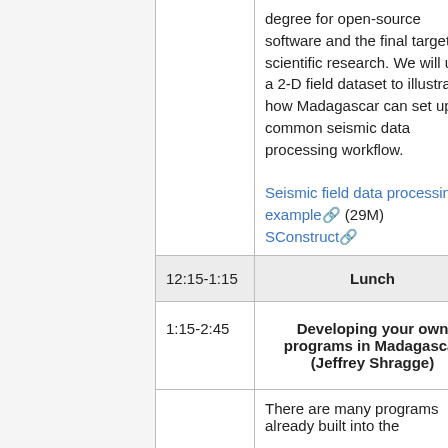| Time | Session |
| --- | --- |
|  | degree for open-source software and the final target for scientific research. We will use a 2-D field dataset to illustrate how Madagascar can set up a common seismic data processing workflow.

Seismic field data processing example (29M)
SConstruct |
| 12:15-1:15 | Lunch |
| 1:15-2:45 | Developing your own programs in Madagascar (Jeffrey Shragge) |
|  | There are many programs already built into the |